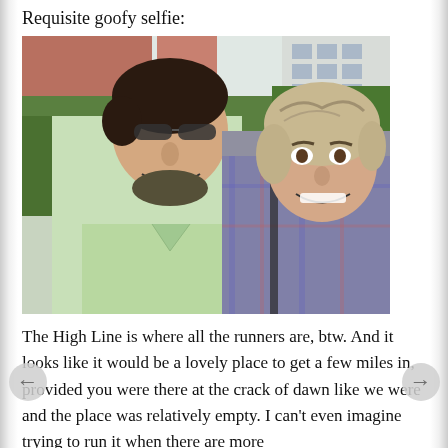Requisite goofy selfie:
[Figure (photo): A smiling man in sunglasses and a light green polo shirt and a woman with short light hair in a plaid shirt taking a selfie outdoors, with greenery and buildings in the background. Appears to be at the High Line in New York City.]
The High Line is where all the runners are, btw. And it looks like it would be a lovely place to get a few miles in, provided you were there at the crack of dawn like we were and the place was relatively empty. I can't even imagine trying to run it when there are more